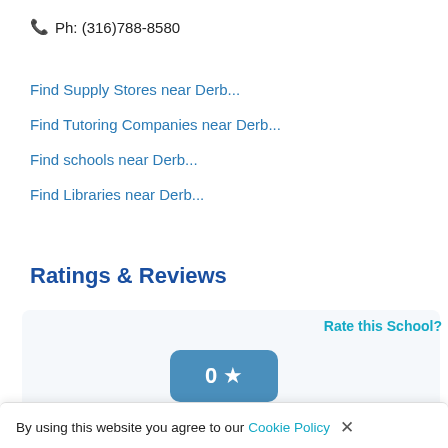Ph: (316)788-8580
Find Supply Stores near Derb...
Find Tutoring Companies near Derb...
Find schools near Derb...
Find Libraries near Derb...
Ratings & Reviews
Rate this School?
0 ★
0 Ratings & 0 Reviews
By using this website you agree to our Cookie Policy ×